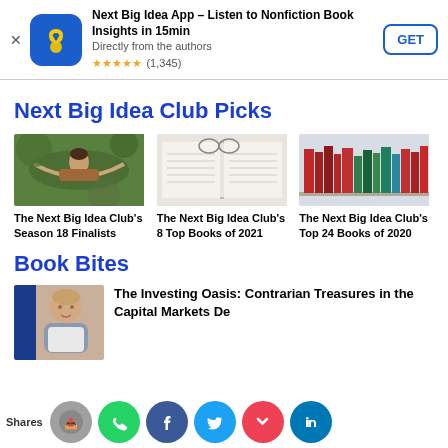[Figure (screenshot): App store ad banner for Next Big Idea App with icon, title, rating, and GET button]
Next Big Idea Club Picks
[Figure (photo): Person reading in a hammock outdoors]
The Next Big Idea Club's Season 18 Finalists
[Figure (photo): Open book with glasses resting on top]
The Next Big Idea Club's 8 Top Books of 2021
[Figure (photo): Colorful books on a shelf]
The Next Big Idea Club's Top 24 Books of 2020
Book Bites
[Figure (photo): Person (headshot) next to blue book]
The Investing Oasis: Contrarian Treasures in the Capital Markets De…